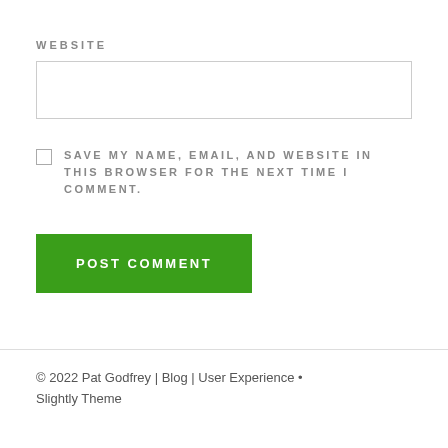WEBSITE
SAVE MY NAME, EMAIL, AND WEBSITE IN THIS BROWSER FOR THE NEXT TIME I COMMENT.
POST COMMENT
© 2022 Pat Godfrey | Blog | User Experience • Slightly Theme